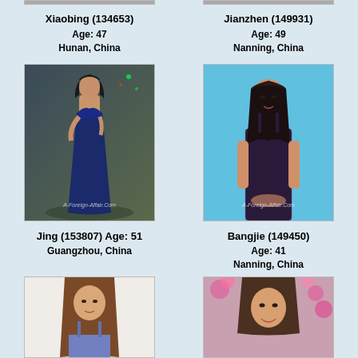Xiaobing (134653)
Age: 47
Hunan, China
Jianzhen (149931)
Age: 49
Nanning, China
[Figure (photo): Woman in long blue evening gown at event]
[Figure (photo): Young woman in sparkly dark top, blue background]
Jing (153807) Age: 51
Guangzhou, China
Bangjie (149450)
Age: 41
Nanning, China
[Figure (photo): Woman with long brown hair in blue top]
[Figure (photo): Woman smiling with pink flowers in background]